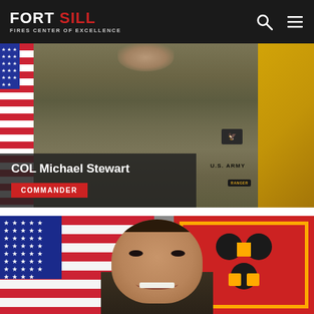FORT SILL FIRES CENTER OF EXCELLENCE
[Figure (photo): Military officer in camouflage uniform with U.S. Army patch, standing before American flag and yellow military flag. Name overlay reads: COL Michael Stewart, COMMANDER.]
COL Michael Stewart
COMMANDER
[Figure (photo): Smiling military officer in dress uniform standing before American flag on the left and a red/yellow military unit flag (Fires Center of Excellence) on the right.]